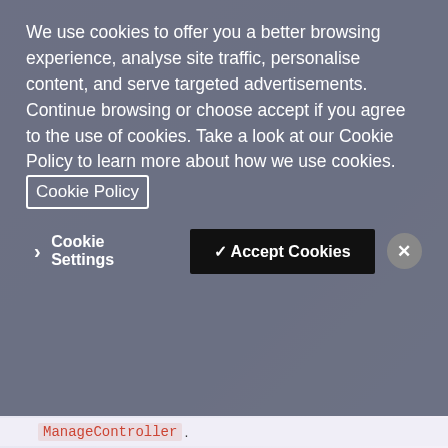We use cookies to offer you a better browsing experience, analyse site traffic, personalise content, and serve targeted advertisements. Continue browsing or choose accept if you agree to the use of cookies. Take a look at our Cookie Policy to learn more about how we use cookies. Cookie Policy
Cookie Settings   ✓ Accept Cookies   ✕
ManageController.
[Figure (screenshot): Dark-themed code editor showing C# MVC code with [AllowAnonymous] attribute, public ActionResult AddPhoneNumber() method returning View(), followed by [HttpPost] and [AllowAnonymous] attributes]